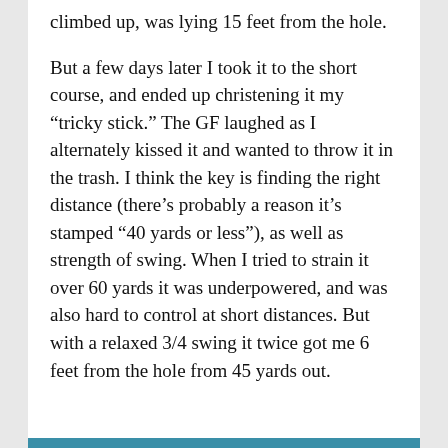climbed up, was lying 15 feet from the hole.
But a few days later I took it to the short course, and ended up christening it my “tricky stick.” The GF laughed as I alternately kissed it and wanted to throw it in the trash. I think the key is finding the right distance (there’s probably a reason it’s stamped “40 yards or less”), as well as strength of swing. When I tried to strain it over 60 yards it was underpowered, and was also hard to control at short distances. But with a relaxed 3/4 swing it twice got me 6 feet from the hole from 45 yards out.